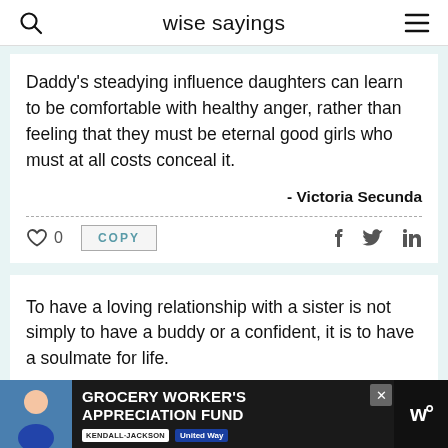wise sayings
Daddy's steadying influence daughters can learn to be comfortable with healthy anger, rather than feeling that they must be eternal good girls who must at all costs conceal it.
- Victoria Secunda
0   COPY
To have a loving relationship with a sister is not simply to have a buddy or a confident, it is to have a soulmate for life.
- Victoria Secunda
[Figure (infographic): Advertisement banner for Grocery Worker's Appreciation Fund featuring Kendall-Jackson and United Way logos with a person photo on left side]